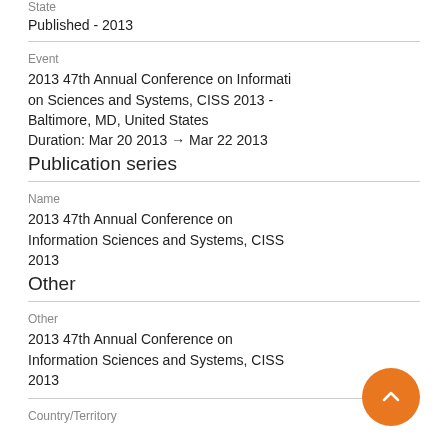State
Published - 2013
Event
2013 47th Annual Conference on Information Sciences and Systems, CISS 2013 - Baltimore, MD, United States
Duration: Mar 20 2013 → Mar 22 2013
Publication series
Name
2013 47th Annual Conference on Information Sciences and Systems, CISS 2013
Other
Other
2013 47th Annual Conference on Information Sciences and Systems, CISS 2013
Country/Territory